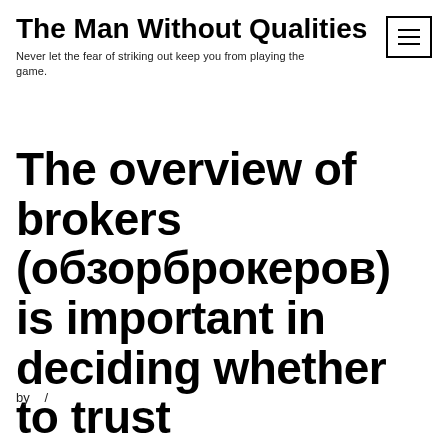The Man Without Qualities
Never let the fear of striking out keep you from playing the game.
The overview of brokers (обзорброкеров) is important in deciding whether to trust
by  /